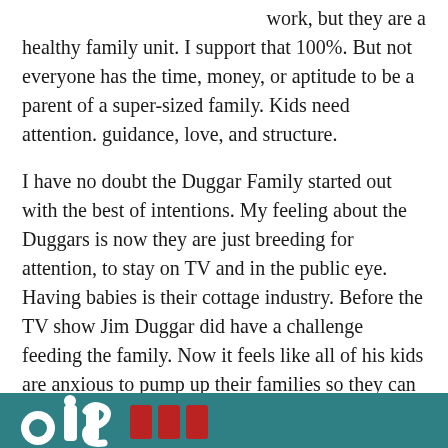work, but they are a healthy family unit. I support that 100%. But not everyone has the time, money, or aptitude to be a parent of a super-sized family. Kids need attention. guidance, love, and structure.
I have no doubt the Duggar Family started out with the best of intentions. My feeling about the Duggars is now they are just breeding for attention, to stay on TV and in the public eye. Having babies is their cottage industry. Before the TV show Jim Duggar did have a challenge feeding the family. Now it feels like all of his kids are anxious to pump up their families so they can be celebrities like mom and dad. I think that's wrong and cynical.
[Figure (logo): Teal/green banner with white bold text and red rectangular blocks, partial logo at bottom of page]